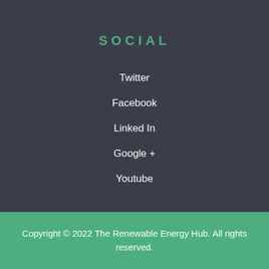SOCIAL
Twitter
Facebook
Linked In
Google +
Youtube
Copyright © 2022 The Renewable Energy Hub. All rights reserved.